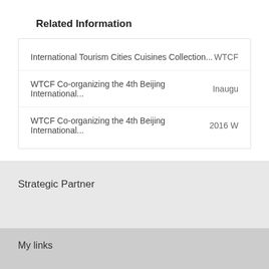Related Information
International Tourism Cities Cuisines Collection...   WTCF
WTCF Co-organizing the 4th Beijing International...   Inaugu...
WTCF Co-organizing the 4th Beijing International...   2016 W...
Strategic Partner
My links